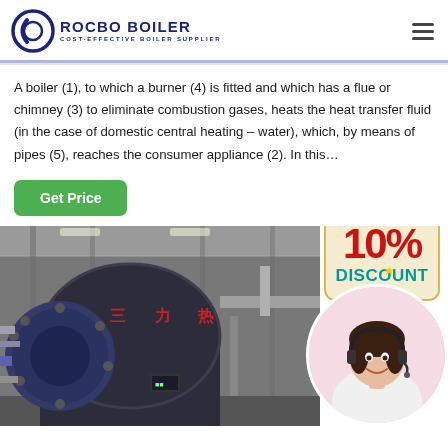[Figure (logo): Rocbo Boiler logo with circular icon and text 'ROCBO BOILER / COST-EFFECTIVE BOILER SUPPLIER' in navy blue]
A boiler (1), to which a burner (4) is fitted and which has a flue or chimney (3) to eliminate combustion gases, heats the heat transfer fluid (in the case of domestic central heating – water), which, by means of pipes (5), reaches the consumer appliance (2). In this…
[Figure (photo): Industrial boiler facility showing large cylindrical blue boiler equipment in a factory setting with pipes and industrial infrastructure]
[Figure (infographic): 10% Discount promotional badge hanging sign with red bold text '10%' and teal text 'DISCOUNT' on cream background]
[Figure (photo): Customer service representative smiling woman with headset in a circular portrait overlay]